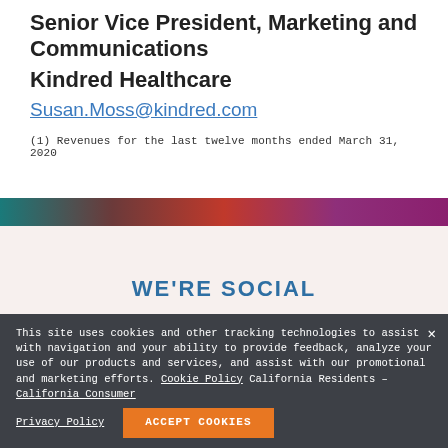Senior Vice President, Marketing and Communications
Kindred Healthcare
Susan.Moss@kindred.com
(1) Revenues for the last twelve months ended March 31, 2020
[Figure (illustration): Gradient color bar divider with teal to purple gradient]
WE'RE SOCIAL
[Figure (illustration): Social media icons: Facebook, LinkedIn/Twitter, YouTube, Instagram]
This site uses cookies and other tracking technologies to assist with navigation and your ability to provide feedback, analyze your use of our products and services, and assist with our promotional and marketing efforts. Cookie Policy California Residents – California Consumer Privacy Policy
ACCEPT COOKIES